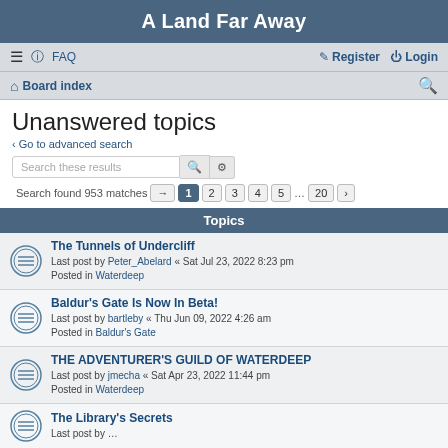A Land Far Away
≡  FAQ    Register  Login
Board index
Unanswered topics
< Go to advanced search
Search these results  [search] [settings]
Search found 953 matches  [→] 1 2 3 4 5 ... 20 [>]
Topics
The Tunnels of Undercliff
Last post by Peter_Abelard « Sat Jul 23, 2022 8:23 pm
Posted in Waterdeep
Baldur's Gate Is Now In Beta!
Last post by bartleby « Thu Jun 09, 2022 4:26 am
Posted in Baldur's Gate
THE ADVENTURER'S GUILD OF WATERDEEP
Last post by jmecha « Sat Apr 23, 2022 11:44 pm
Posted in Waterdeep
The Library's Secrets
Last post by ...